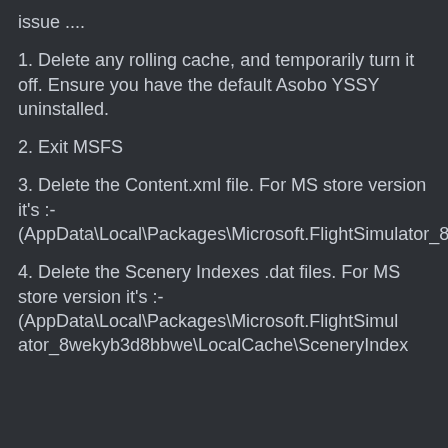issue ....
1. Delete any rolling cache, and temporarily turn it off. Ensure you have the default Asobo YSSY uninstalled.
2. Exit MSFS
3. Delete the Content.xml file. For MS store version it's :- (AppData\Local\Packages\Microsoft.FlightSimulator_8wekyb3d8bbwe\LocalCache\Content.xml)
4. Delete the Scenery Indexes .dat files. For MS store version it's :- (AppData\Local\Packages\Microsoft.FlightSimulator_8wekyb3d8bbwe\LocalCache\SceneryIndex